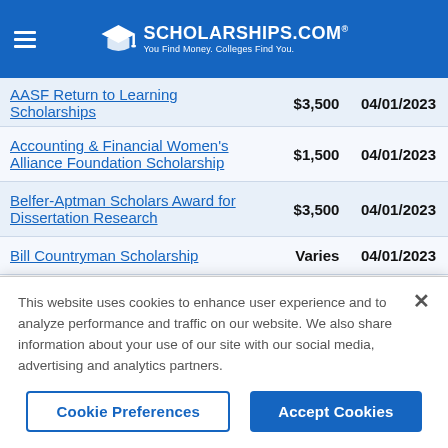SCHOLARSHIPS.COM — You Find Money. Colleges Find You.
| Scholarship Name | Amount | Deadline |
| --- | --- | --- |
| AASF Return to Learning Scholarships | $3,500 | 04/01/2023 |
| Accounting & Financial Women's Alliance Foundation Scholarship | $1,500 | 04/01/2023 |
| Belfer-Aptman Scholars Award for Dissertation Research | $3,500 | 04/01/2023 |
| Bill Countryman Scholarship | Varies | 04/01/2023 |
This website uses cookies to enhance user experience and to analyze performance and traffic on our website. We also share information about your use of our site with our social media, advertising and analytics partners.